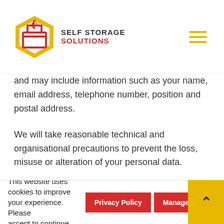Self Storage Solutions
and may include information such as your name, email address, telephone number, position and postal address.
We will take reasonable technical and organisational precautions to prevent the loss, misuse or alteration of your personal data.
3) Notification of changes to the
This website uses cookies to improve your experience. Please accept to continue. Privacy Policy | Manage | A